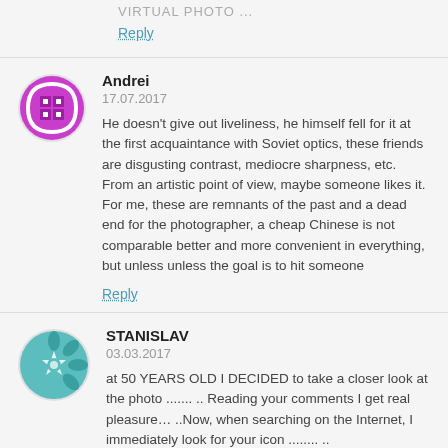VIRTUAL PHOTO ...
Reply
[Figure (illustration): Purple/magenta geometric avatar icon for user Andrei]
Andrei
17.07.2017
He doesn't give out liveliness, he himself fell for it at the first acquaintance with Soviet optics, these friends are disgusting contrast, mediocre sharpness, etc. From an artistic point of view, maybe someone likes it. For me, these are remnants of the past and a dead end for the photographer, a cheap Chinese is not comparable better and more convenient in everything, but unless unless the goal is to hit someone
Reply
[Figure (illustration): Teal/green geometric snowflake-style avatar icon for user STANISLAV]
STANISLAV
03.03.2017
at 50 YEARS OLD I DECIDED to take a closer look at the photo ....... .. Reading your comments I get real pleasure… ..Now, when searching on the Internet, I immediately look for your icon ........ ..